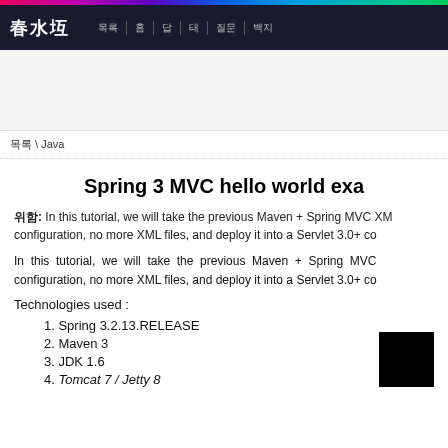春水堂 \ 목록 \ 홈 \ 답 \ 태그 \ 질문 \ 뱃지
목록 \ Java
Spring 3 MVC hello world example – Annotation
참고: In this tutorial, we will take the previous Maven + Spring MVC XML configuration, no more XML files, and deploy it into a Servlet 3.0+ co
In this tutorial, we will take the previous Maven + Spring MVC XML configuration, no more XML files, and deploy it into a Servlet 3.0+ co
Technologies used :
1. Spring 3.2.13.RELEASE
2. Maven 3
3. JDK 1.6
4. Tomcat 7 / Jetty 8